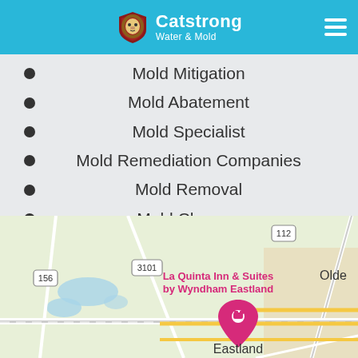Catstrong Water & Mold
Mold Mitigation
Mold Abatement
Mold Specialist
Mold Remediation Companies
Mold Removal
Mold Cleanup
Mold Removal Services
Clearance Testing
Mold Assessment
[Figure (map): Google Maps view centered near Eastland, TX showing road 112, 3101, 156, 436, 452, 451, 441, 570, and I-20 highway; La Quinta Inn & Suites by Wyndham Eastland marker visible; Eastland city label shown]